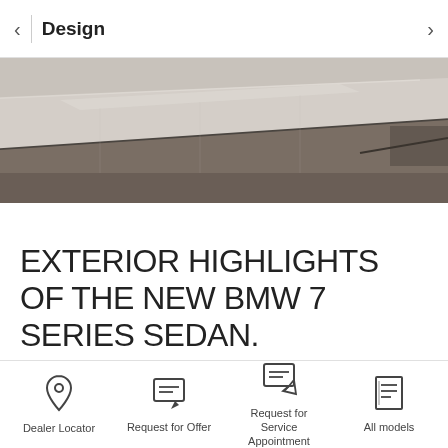Design
[Figure (photo): Close-up photo of the exterior roofline and panels of the BMW 7 Series Sedan, showing stone-grey paint and panel lines at an angle]
EXTERIOR HIGHLIGHTS OF THE NEW BMW 7 SERIES SEDAN.
Dealer Locator | Request for Offer | Request for Service Appointment | All models